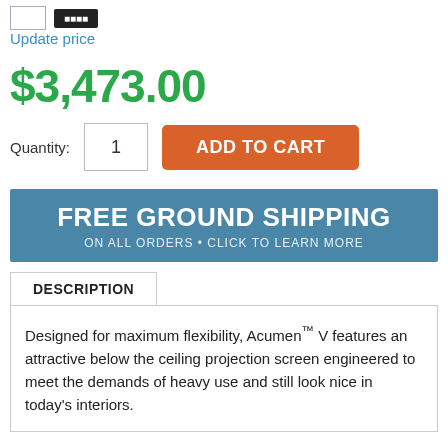Update price
$3,473.00
Quantity: 1  ADD TO CART
[Figure (infographic): Blue banner reading FREE GROUND SHIPPING / ON ALL ORDERS • CLICK TO LEARN MORE]
DESCRIPTION
Designed for maximum flexibility, Acumen™ V features an attractive below the ceiling projection screen engineered to meet the demands of heavy use and still look nice in today's interiors.